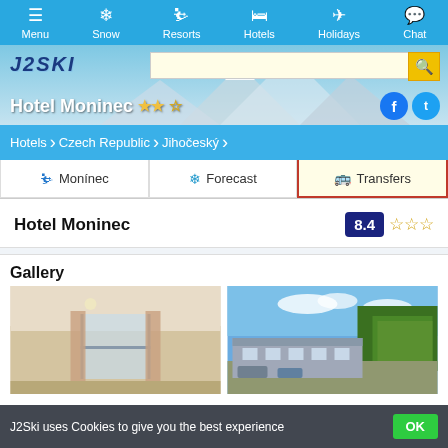Menu | Snow | Resorts | Hotels | Holidays | Chat
[Figure (screenshot): J2Ski website header with mountain background, logo, search bar, Hotel Moninec title with 3 stars, Facebook and Twitter social icons]
Hotels > Czech Republic > Jihočeský
Monínec | Forecast | Transfers
Hotel Moninec   8.4 ☆☆☆
Gallery
[Figure (photo): Two gallery photos: interior hotel room on left, exterior hotel building with trees on right]
J2Ski uses Cookies to give you the best experience   OK